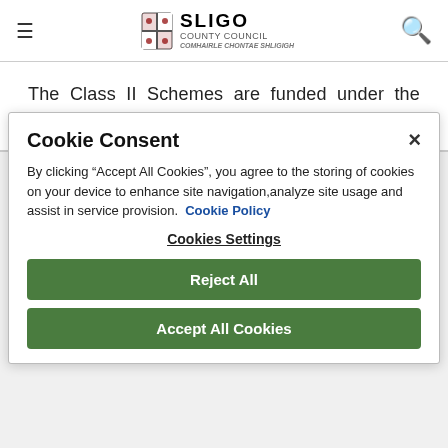Sligo County Council
The Class II Schemes are funded under the Specific Improvement Grant Schemes.
Cookie Consent
By clicking “Accept All Cookies”, you agree to the storing of cookies on your device to enhance site navigation,analyze site usage and assist in service provision.  Cookie Policy
Cookies Settings
Reject All
Accept All Cookies